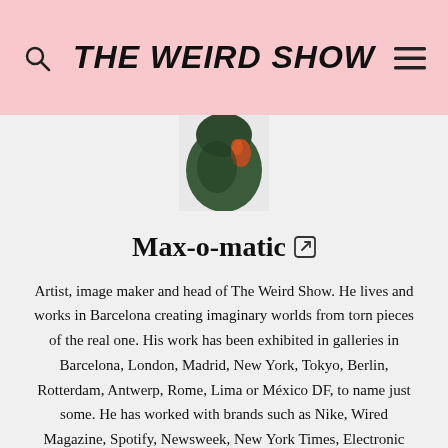THE WEIRD SHOW
[Figure (photo): Partial view of a colorful sculptural or painted object (green and orange/red tones) against a white background, cropped at the top]
Max-o-matic ↗
Artist, image maker and head of The Weird Show. He lives and works in Barcelona creating imaginary worlds from torn pieces of the real one. His work has been exhibited in galleries in Barcelona, London, Madrid, New York, Tokyo, Berlin, Rotterdam, Antwerp, Rome, Lima or México DF, to name just some. He has worked with brands such as Nike, Wired Magazine, Spotify, Newsweek, New York Times, Electronic...